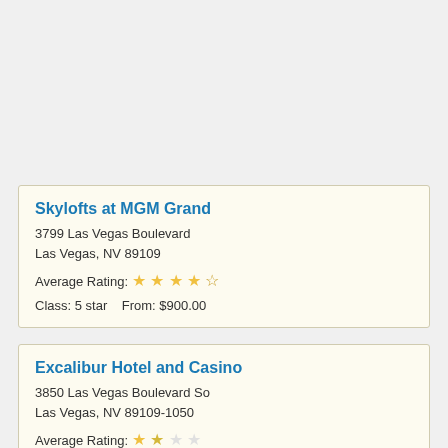Skylofts at MGM Grand
3799 Las Vegas Boulevard
Las Vegas, NV 89109
Average Rating: ★★★★☆
Class: 5 star    From: $900.00
Excalibur Hotel and Casino
3850 Las Vegas Boulevard So
Las Vegas, NV 89109-1050
Average Rating: ...